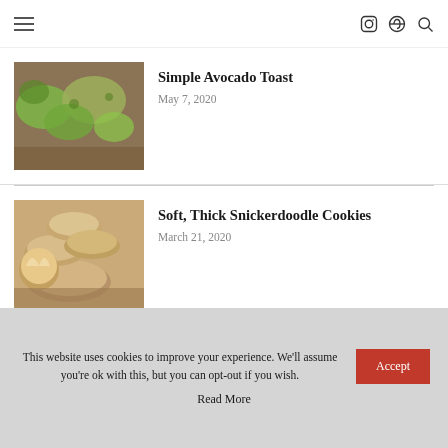☰  [Instagram] [Pinterest] [Search]
Simple Avocado Toast
May 7, 2020
[Figure (photo): Avocado toast — green mashed avocado spread on dark bread slices on a wooden surface]
Soft, Thick Snickerdoodle Cookies
March 21, 2020
[Figure (photo): Stack of soft thick snickerdoodle cookies on a wooden board, one broken open to show interior]
This website uses cookies to improve your experience. We'll assume you're ok with this, but you can opt-out if you wish.
Accept
Read More